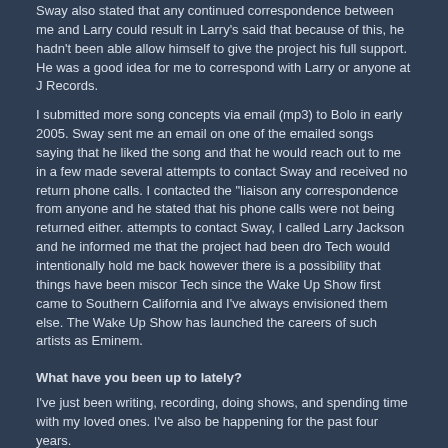Sway also stated that any continued correspondence between me and Larry could result in Larry's said that because of this, he hadn't been able allow himself to give the project his full support. He was a good idea for me to correspond with Larry or anyone at J Records.
I submitted more song concepts via email (mp3) to Bolo in early 2005. Sway sent me an email on one of the emailed songs saying that he liked the song and that he would reach out to me in a few made several attempts to contact Sway and received no return phone calls. I contacted the "liaison any correspondence from anyone and he stated that his phone calls were not being returned either. attempts to contact Sway, I called Larry Jackson and he informed me that the project had been dro Tech would intentionally hold me back however there is a possibility that things have been miscor Tech since the Wake Up Show first came to Southern California and I've always envisioned them else. The Wake Up Show has launched the careers of such artists as Eminem.
What have you been up to lately?
I've just been writing, recording, doing shows, and spending time with my loved ones. I've also be happening for the past four years.
Will you and Dirty Birdy be releasing a full length album anytime soon?
That has always been our childhood dream. That would be a beautiful thing.
How as an emcee do you think you've changed from Judgment Day up to now?
I think I've grown to a level where I can now create music for more than one type of audience. Jud lyrical heads. My new material caters to a broader demographic. I'm noticing more of a mixture o shows. I think that has to do with the fact that I was able to get production with a more professiona
What are your greatest achievements in life?
I would consider my most outstanding achievement to be my perseverance through tribulations.